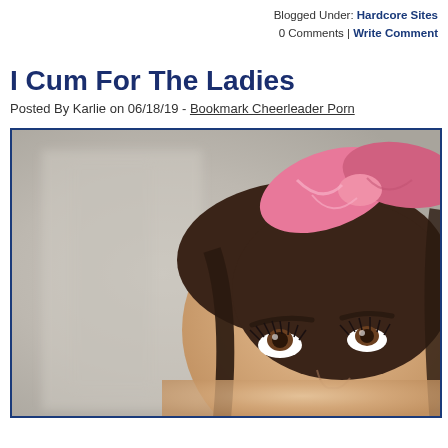Blogged Under: Hardcore Sites
0 Comments | Write Comment
I Cum For The Ladies
Posted By Karlie on 06/18/19 - Bookmark Cheerleader Porn
[Figure (photo): Close-up photo of a young woman wearing a pink satin hair bow/headband, with styled dark hair, heavy eye makeup including long lashes, looking upward. Background is blurred beige/grey.]